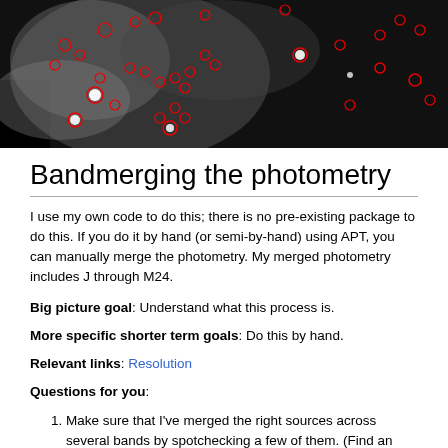[Figure (photo): Astronomical image showing a starfield with numerous red circles marking detected sources. The image is grayscale showing nebular structure with bright stars, overlaid with red circular aperture markers indicating photometry sources.]
Bandmerging the photometry
I use my own code to do this; there is no pre-existing package to do this. If you do it by hand (or semi-by-hand) using APT, you can manually merge the photometry. My merged photometry includes J through M24.
Big picture goal: Understand what this process is.
More specific shorter term goals: Do this by hand.
Relevant links: Resolution
Questions for you:
Make sure that I've merged the right sources across several bands by spotchecking a few of them. (Find an object that the catalog says is detected in at least 3 bands and then overlay the images in a 3-color image or Spot to see if there is really a source there, at exactly that spot, in all bands, or if it's a cluster of objects, or